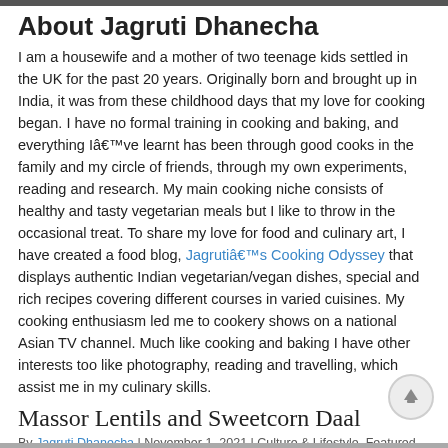About Jagruti Dhanecha
I am a housewife and a mother of two teenage kids settled in the UK for the past 20 years. Originally born and brought up in India, it was from these childhood days that my love for cooking began. I have no formal training in cooking and baking, and everything Iâ€™ve learnt has been through good cooks in the family and my circle of friends, through my own experiments, reading and research. My main cooking niche consists of healthy and tasty vegetarian meals but I like to throw in the occasional treat. To share my love for food and culinary art, I have created a food blog, Jagrutiâ€™s Cooking Odyssey that displays authentic Indian vegetarian/vegan dishes, special and rich recipes covering different courses in varied cuisines. My cooking enthusiasm led me to cookery shows on a national Asian TV channel. Much like cooking and baking I have other interests too like photography, reading and travelling, which assist me in my culinary skills.
Massor Lentils and Sweetcorn Daal
By Jagruti Dhanecha | November 1, 2021 | Culture & Lifestyle, Featured   Comments Off